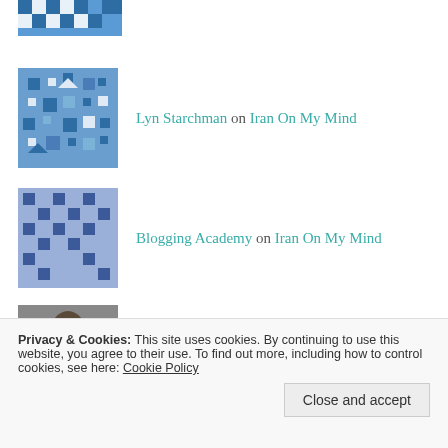[Figure (illustration): Partial blue pixel/mosaic avatar at the top of the page]
Lyn Starchman on Iran On My Mind
Blogging Academy on Iran On My Mind
ashleypaige4 on Can't Agree More
Divinely Delicious D... on Starting Something New
Privacy & Cookies: This site uses cookies. By continuing to use this website, you agree to their use. To find out more, including how to control cookies, see here: Cookie Policy